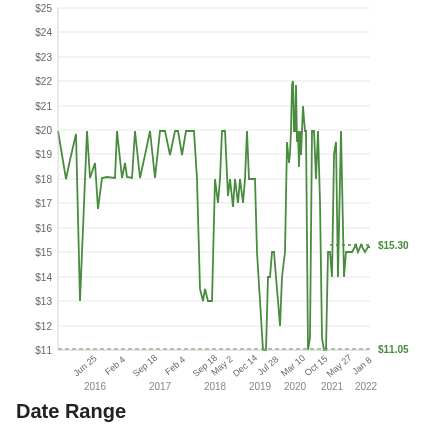[Figure (continuous-plot): Step line chart showing price history from Jun 2015 to Jan 2022, ranging from approximately $11.05 to $25. The line is green, showing volatile price movements. Current price annotated as $15.30 with a dotted line, and minimum annotated as $11.05 with a dashed line.]
Date Range